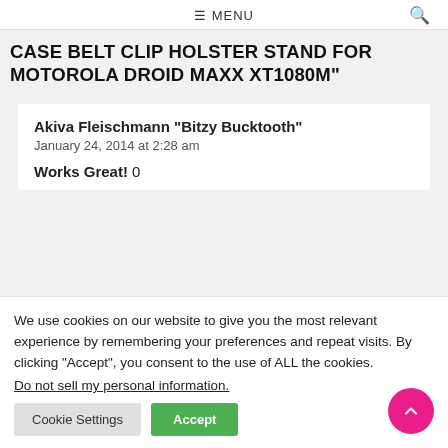≡ MENU
CASE BELT CLIP HOLSTER STAND FOR MOTOROLA DROID MAXX XT1080M"
Akiva Fleischmann "Bitzy Bucktooth"
January 24, 2014 at 2:28 am
Works Great! 0
We use cookies on our website to give you the most relevant experience by remembering your preferences and repeat visits. By clicking “Accept”, you consent to the use of ALL the cookies.
Do not sell my personal information.